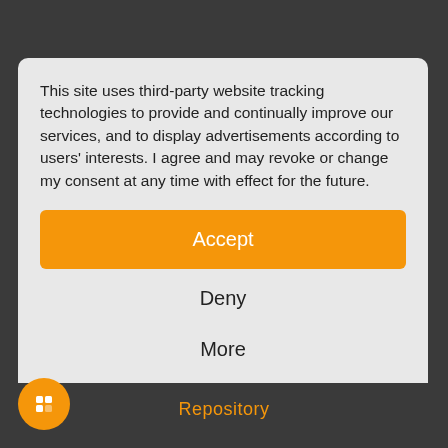This site uses third-party website tracking technologies to provide and continually improve our services, and to display advertisements according to users' interests. I agree and may revoke or change my consent at any time with effect for the future.
Accept
Deny
More
Powered by usercentrics
Imprint | Privacy Policy
Repository